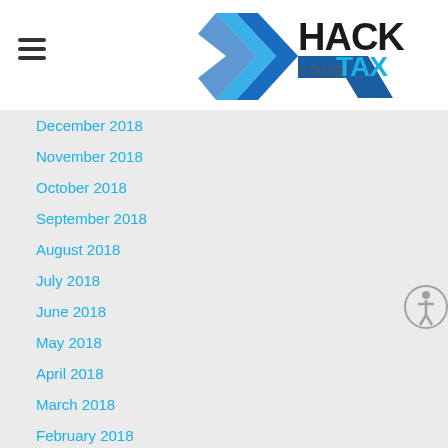Hack Your Tax
December 2018
November 2018
October 2018
September 2018
August 2018
July 2018
June 2018
May 2018
April 2018
March 2018
February 2018
January 2018
December 2017